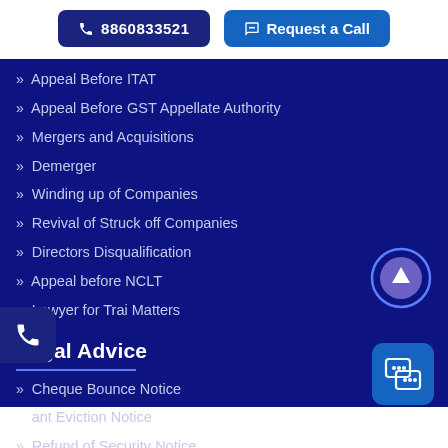8860833521   Request a Call
Appeal Before ITAT
Appeal Before GST Appellate Authority
Mergers and Acquisitions
Demerger
Winding up of Companies
Revival of Struck off Companies
Directors Disqualification
Appeal before NCLT
Lawyer for Trai Matters
Legal Advice
Cheque Bounce Notice
ant Eviction Notice
Refund of Security Notice